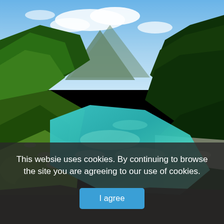[Figure (photo): Aerial photo of a clear turquoise-green mountain river winding through dense green forest with rocky banks and blue sky with clouds and mountains in background]
This websie uses cookies. By continuing to browse the site you are agreeing to our use of cookies.